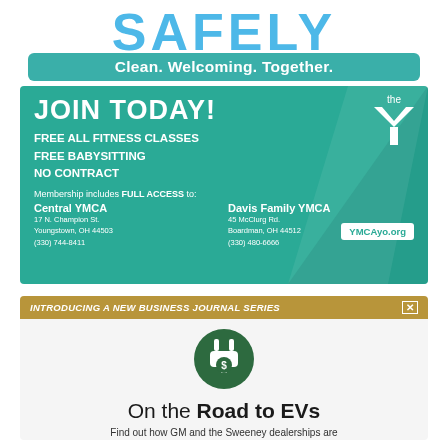SAFELY
Clean. Welcoming. Together.
[Figure (infographic): YMCA JOIN TODAY advertisement with teal background. Text: JOIN TODAY! FREE ALL FITNESS CLASSES, FREE BABYSITTING, NO CONTRACT. Membership includes FULL ACCESS to: Central YMCA, 17 N. Champion St., Youngstown, OH 44503, (330) 744-8411; Davis Family YMCA, 45 McClurg Rd., Boardman, OH 44512, (330) 480-6666. YMCAyo.org]
[Figure (infographic): On the Road to EVs ad. INTRODUCING A NEW BUSINESS JOURNAL SERIES. Green circle plug icon with dollar sign. Title: On the Road to EVs. Find out how GM and the Sweeney dealerships are transitioning to electric vehicles in this case-study series. SPONSORED BY SWEENEY]